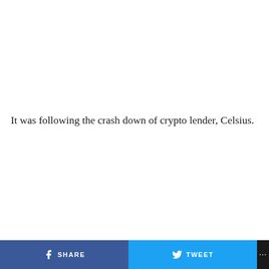It was following the crash down of crypto lender, Celsius.
SHARE   TWEET